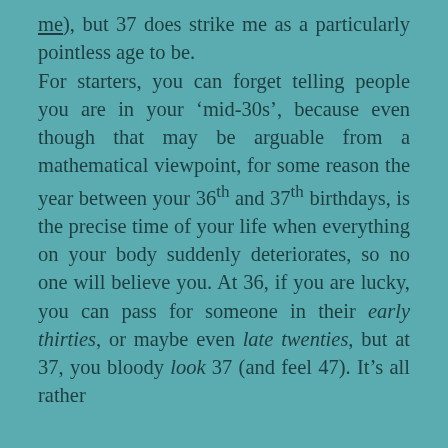me), but 37 does strike me as a particularly pointless age to be.

For starters, you can forget telling people you are in your ‘mid-30s’, because even though that may be arguable from a mathematical viewpoint, for some reason the year between your 36th and 37th birthdays, is the precise time of your life when everything on your body suddenly deteriorates, so no one will believe you. At 36, if you are lucky, you can pass for someone in their early thirties, or maybe even late twenties, but at 37, you bloody look 37 (and feel 47). It’s all rather